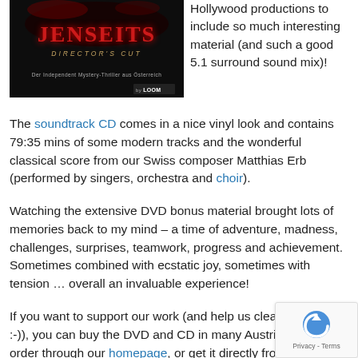[Figure (photo): Jenseits Director's Cut movie cover with red title text on dark background, subtitle 'Der Independent Mystery-Thriller aus Österreich' and LOOM logo]
Hollywood productions to include so much interesting material (and such a good 5.1 surround sound mix)!
The soundtrack CD comes in a nice vinyl look and contains 79:35 mins of some modern tracks and the wonderful classical score from our Swiss composer Matthias Erb (performed by singers, orchestra and choir).
Watching the extensive DVD bonus material brought lots of memories back to my mind – a time of adventure, madness, challenges, surprises, teamwork, progress and achievement. Sometimes combined with ecstatic joy, sometimes with tension … overall an invaluable experience!
If you want to support our work (and help us clear our debts :-)), you can buy the DVD and CD in many Austrian stores, order through our homepage, or get it directly from the crew (the cheapest option). My humble advice: do it